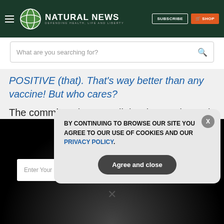NATURAL NEWS — DEFENDING HEALTH, LIFE AND LIBERTY | SUBSCRIBE | SHOP
What are you searching for?
POSITIVE (that). That's way better than any vaccine! But who cares?
The committee ignores all the data and says it can't figure out if the drug will help or not.
GET THE WORLD'S BEST NATURAL HEALTH NEWSLETTER DELIVERED STRAIGHT TO YOUR INBOX
BY CONTINUING TO BROWSE OUR SITE YOU AGREE TO OUR USE OF COOKIES AND OUR PRIVACY POLICY. Agree and close